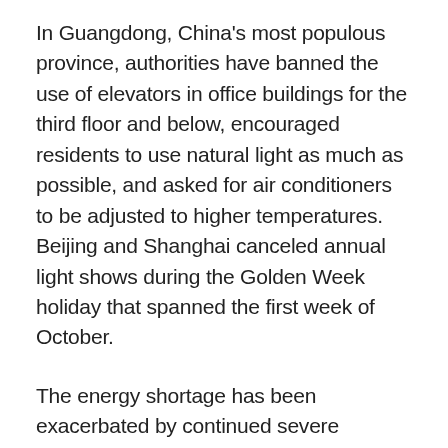In Guangdong, China's most populous province, authorities have banned the use of elevators in office buildings for the third floor and below, encouraged residents to use natural light as much as possible, and asked for air conditioners to be adjusted to higher temperatures. Beijing and Shanghai canceled annual light shows during the Golden Week holiday that spanned the first week of October.
The energy shortage has been exacerbated by continued severe weather. In northern Shanxi province, 27 coal mines were closed last week due to flooding. In China's southern Yunnan province, hydropower has been crimped for much of the year by drought — much as it has in California.
China's chief economic planning agency, the